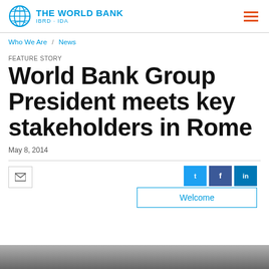THE WORLD BANK IBRD · IDA
Who We Are / News
FEATURE STORY
World Bank Group President meets key stakeholders in Rome
May 8, 2014
[Figure (screenshot): Social sharing buttons: email, Twitter, Facebook, LinkedIn, and a Welcome popup overlay]
[Figure (photo): Bottom strip showing partial photo of Rome meeting]